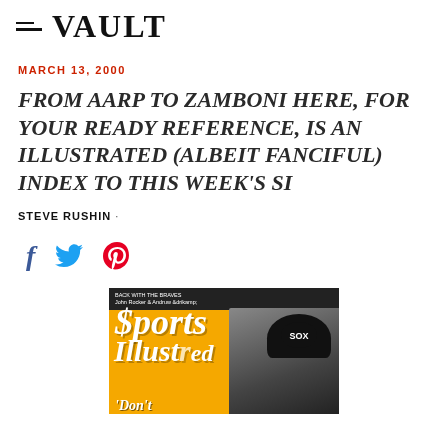≡ VAULT
MARCH 13, 2000
FROM AARP TO ZAMBONI HERE, FOR YOUR READY REFERENCE, IS AN ILLUSTRATED (ALBEIT FANCIFUL) INDEX TO THIS WEEK'S SI
STEVE RUSHIN ·
[Figure (other): Social sharing icons: Facebook (f), Twitter (bird), Pinterest (P)]
[Figure (photo): Sports Illustrated magazine cover from March 13, 2000, showing orange background with Sports Illustrated logo and a baseball player wearing a White Sox cap, with text reading 'Don't']